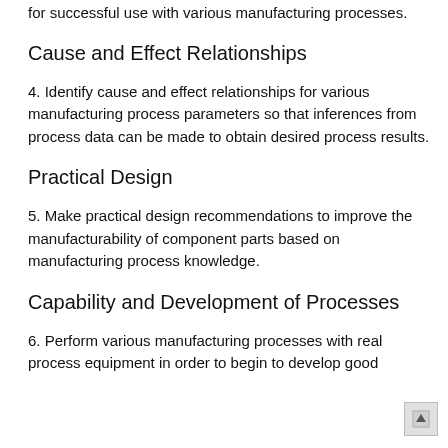for successful use with various manufacturing processes.
Cause and Effect Relationships
4. Identify cause and effect relationships for various manufacturing process parameters so that inferences from process data can be made to obtain desired process results.
Practical Design
5. Make practical design recommendations to improve the manufacturability of component parts based on manufacturing process knowledge.
Capability and Development of Processes
6. Perform various manufacturing processes with real process equipment in order to begin to develop good